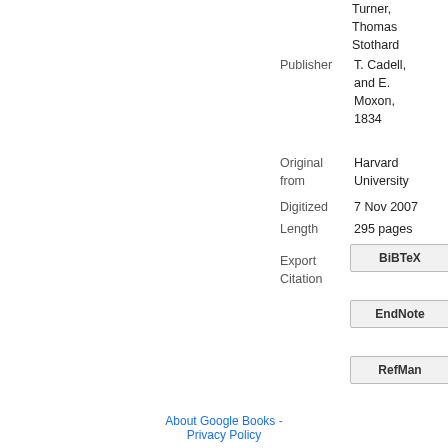Turner, Thomas Stothard
Publisher
T. Cadell, and E. Moxon, 1834
Original from
Harvard University
Digitized
7 Nov 2007
Length
295 pages
Export Citation
BiBTeX
EndNote
RefMan
About Google Books - Privacy Policy